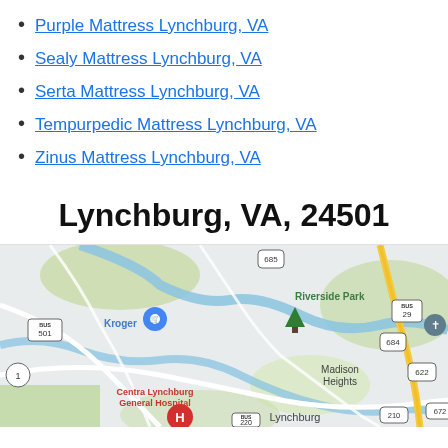Purple Mattress Lynchburg, VA
Sealy Mattress Lynchburg, VA
Serta Mattress Lynchburg, VA
Tempurpedic Mattress Lynchburg, VA
Zinus Mattress Lynchburg, VA
Lynchburg, VA, 24501
[Figure (map): Google Maps screenshot showing Lynchburg, VA area with landmarks including Riverside Park, Kroger, Madison Heights, Centra Lynchburg General Hospital, and road markers for routes 685, 684, 501, 29, 622, 210, 672.]